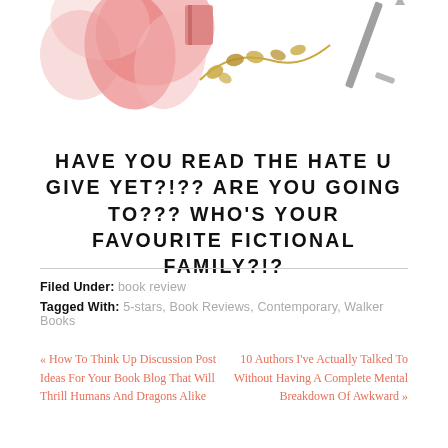[Figure (illustration): Decorative watercolor illustration at top of page showing colorful elements including pink/red flames, golden leaves on vines, and a grey sword or arrow, visible as a partial crop at the top of the page.]
HAVE YOU READ THE HATE U GIVE YET?!?? ARE YOU GOING TO??? WHO'S YOUR FAVOURITE FICTIONAL FAMILY?!?
Filed Under: book review
Tagged With: 5-stars, Book Reviews, Contemporary, Walker Books
« How To Think Up Discussion Post Ideas For Your Book Blog That Will Thrill Humans And Dragons Alike
10 Authors I've Actually Talked To Without Having A Complete Mental Breakdown Of Awkward »